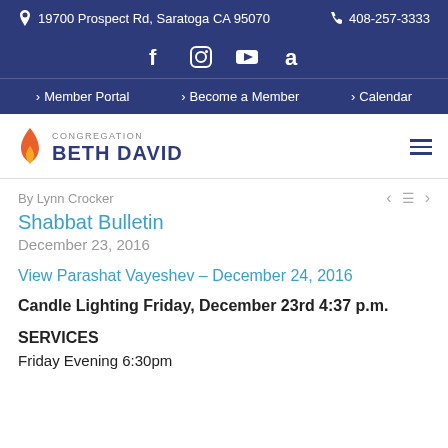19700 Prospect Rd, Saratoga CA 95070    408-257-3333
[Figure (illustration): Social media icons: Facebook, Instagram, YouTube, Amazon]
> Member Portal   > Become a Member   > Calendar
[Figure (logo): Congregation Beth David logo with flame icon]
By Lynn Crocker
Shabbat Bulletin
December 23, 2016
View Parashat Vayeshev – December 24, 2016
Candle Lighting Friday, December 23rd 4:37 p.m.
SERVICES
Friday Evening 6:30pm